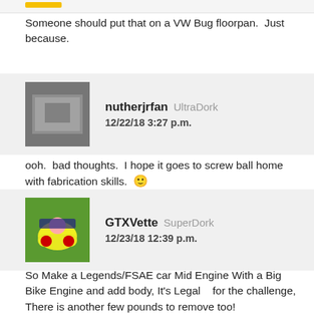Someone should put that on a VW Bug floorpan.  Just because.
nutherjrfan UltraDork 12/22/18 3:27 p.m.
ooh.  bad thoughts.  I hope it goes to screw ball home with fabrication skills.  🙂
GTXVette SuperDork 12/23/18 12:39 p.m.
So Make a Legends/FSAE car Mid Engine With a Big Bike Engine and add body, It's Legal    for the challenge, There is another few pounds to remove too!